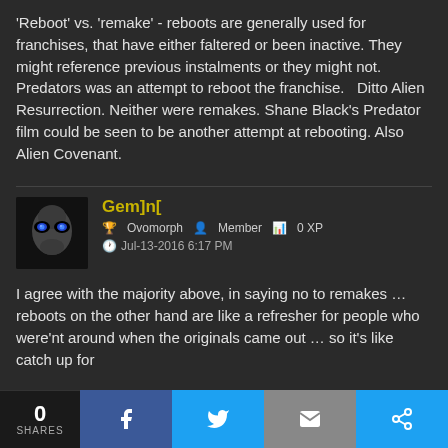'Reboot' vs. 'remake' - reboots are generally used for franchises, that have either faltered or been inactive. They might reference previous instalments or they might not. Predators was an attempt to reboot the franchise.   Ditto Alien Resurrection. Neither were remakes. Shane Black's Predator film could be seen to be another attempt at rebooting. Also Alien Covenant.
Gem]n[ | Ovomorph | Member | 0 XP | Jul-13-2016 6:17 PM
I agree with the majority above, in saying no to remakes … reboots on the other hand are like a refresher for people who were'nt around when the originals came out … so it's like catch up for
0 SHARES | f | t | mail | share